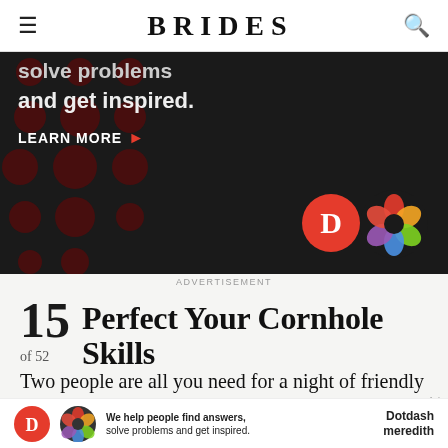BRIDES
[Figure (screenshot): Advertisement banner with black background, red polka dot pattern, text 'solve problems and get inspired.' with LEARN MORE button, D logo and colorful knot logo]
ADVERTISEMENT
13 Perfect Your Cornhole Skills
of 52
Two people are all you need for a night of friendly competition. Practice makes perfect with a backyard set, but you can play indoors, too. Up the ante with a little
[Figure (screenshot): Bottom advertisement bar: We help people find answers, solve problems and get inspired. Dotdash meredith logo]